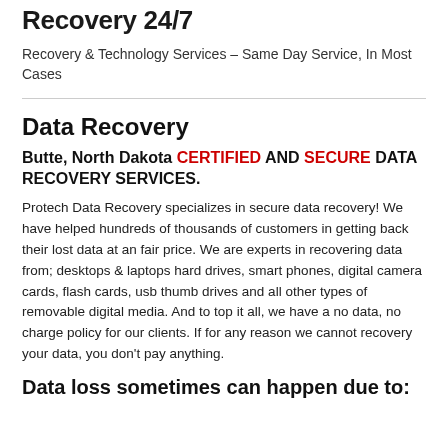Recovery 24/7
Recovery & Technology Services – Same Day Service, In Most Cases
Data Recovery
Butte, North Dakota CERTIFIED AND SECURE DATA RECOVERY SERVICES.
Protech Data Recovery specializes in secure data recovery! We have helped hundreds of thousands of customers in getting back their lost data at an fair price. We are experts in recovering data from; desktops & laptops hard drives, smart phones, digital camera cards, flash cards, usb thumb drives and all other types of removable digital media. And to top it all, we have a no data, no charge policy for our clients. If for any reason we cannot recovery your data, you don't pay anything.
Data loss sometimes can happen due to: